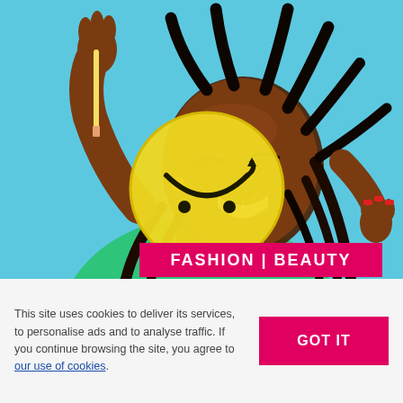[Figure (photo): A smiling Black woman with long braids holding a yellow smiley-face lollipop/sign, wearing a green top, against a bright blue background. Fashion and beauty editorial photo.]
FASHION  |  BEAUTY
This site uses cookies to deliver its services, to personalise ads and to analyse traffic. If you continue browsing the site, you agree to our use of cookies.